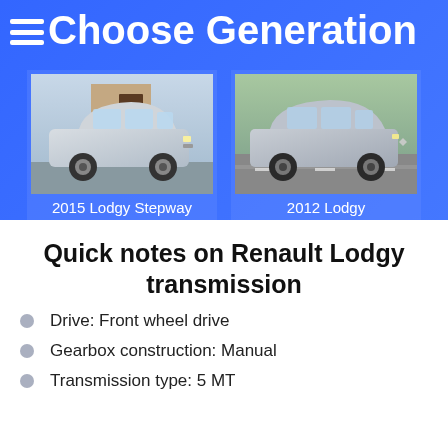Choose Generation
[Figure (photo): 2015 Lodgy Stepway car photo - silver SUV parked in front of a building]
2015 Lodgy Stepway
[Figure (photo): 2012 Lodgy car photo - grey minivan driving on road]
2012 Lodgy
Quick notes on Renault Lodgy transmission
Drive: Front wheel drive
Gearbox construction: Manual
Transmission type: 5 MT